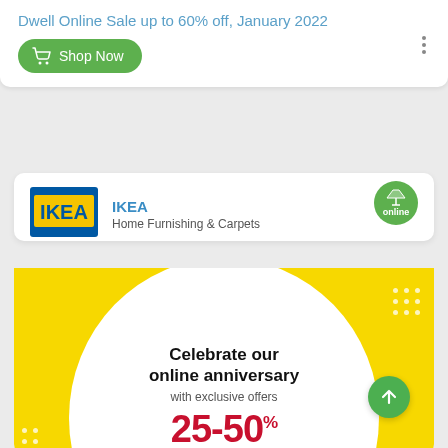Dwell Online Sale up to 60% off, January 2022
[Figure (screenshot): Green Shop Now button with shopping cart icon]
[Figure (logo): IKEA logo - yellow text on blue rectangle background]
IKEA
Home Furnishing & Carpets
[Figure (illustration): Green online badge with tag icon and text 'online']
[Figure (infographic): IKEA promotional banner on yellow background with white circle. Text: Celebrate our online anniversary with exclusive offers 25-50% OFF on selected items 14 - 18 April, 2021]